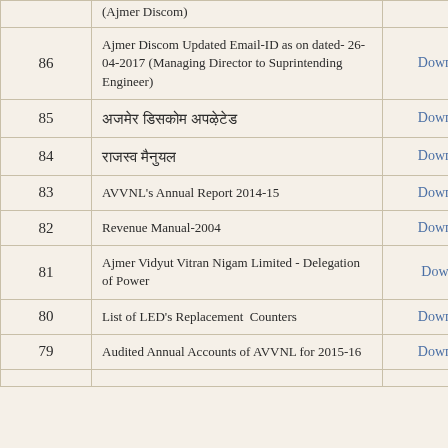| # | Description | Link |
| --- | --- | --- |
|  | (Ajmer Discom) |  |
| 86 | Ajmer Discom Updated Email-ID as on dated- 26-04-2017 (Managing Director to Suprintending Engineer) | Download |
| 85 | [Hindi text] | Download |
| 84 | [Hindi text] | Download |
| 83 | AVVNL's Annual Report 2014-15 | Download |
| 82 | Revenue Manual-2004 | Download |
| 81 | Ajmer Vidyut Vitran Nigam Limited - Delegation of Power | Download |
| 80 | List of LED's Replacement Counters | Download |
| 79 | Audited Annual Accounts of AVVNL for 2015-16 | Download |